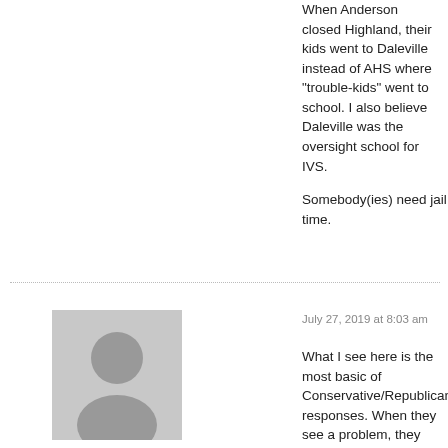When Anderson closed Highland, their kids went to Daleville instead of AHS where “trouble-kids” went to school. I also believe Daleville was the oversight school for IVS.
Somebody(ies) need jail time.
[Figure (illustration): Generic grey user avatar silhouette]
Theresa Bowers
July 27, 2019 at 8:03 am
What I see here is the most basic of Conservative/Republican responses. When they see a problem, they find a way to make money off of it. There is not one single problem facing us that the greediest of this country have not “solved” by creating a solution that can be turned into a money pit. And if they can give their own white